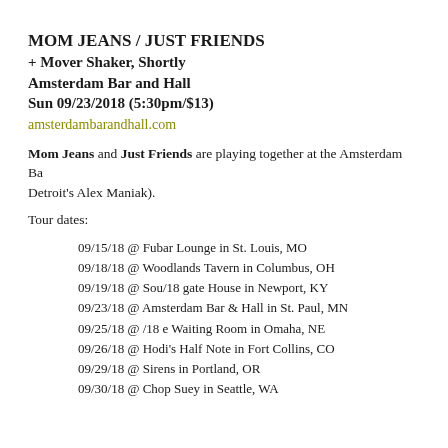MOM JEANS / JUST FRIENDS
+ Mover Shaker, Shortly
Amsterdam Bar and Hall
Sun 09/23/2018 (5:30pm/$13)
amsterdambarandhall.com
Mom Jeans and Just Friends are playing together at the Amsterdam Ba... Detroit's Alex Maniak).
Tour dates:
09/15/18 @ Fubar Lounge in St. Louis, MO
09/18/18 @ Woodlands Tavern in Columbus, OH
09/19/18 @ Sou/18 gate House in Newport, KY
09/23/18 @ Amsterdam Bar & Hall in St. Paul, MN
09/25/18 @ /18 e Waiting Room in Omaha, NE
09/26/18 @ Hodi's Half Note in Fort Collins, CO
09/29/18 @ Sirens in Portland, OR
09/30/18 @ Chop Suey in Seattle, WA